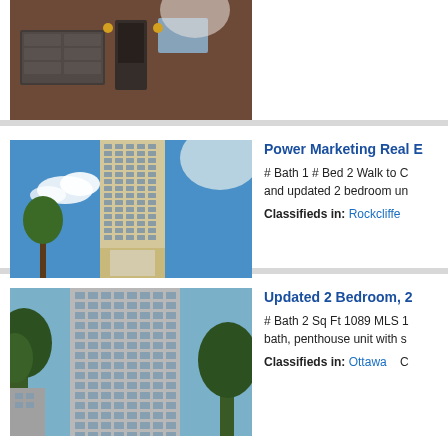[Figure (photo): Partial view of a brick house with garage doors, top portion only visible]
[Figure (photo): Tall high-rise condominium building photographed from below against blue sky]
Power Marketing Real E
# Bath 1 # Bed 2 Walk to C and updated 2 bedroom un
Classifieds in: Rockcliffe
[Figure (photo): Tall high-rise condominium building with trees in foreground]
Updated 2 Bedroom, 2
# Bath 2 Sq Ft 1089 MLS 1 bath, penthouse unit with s
Classifieds in: Ottawa   C